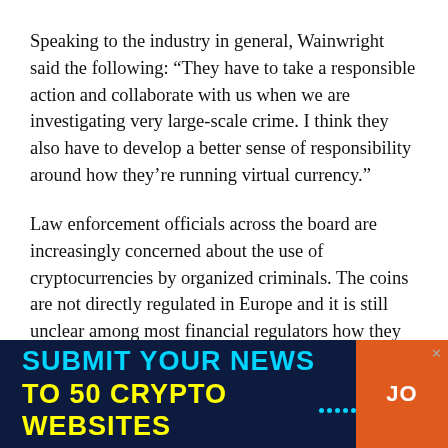Speaking to the industry in general, Wainwright said the following: “They have to take a responsible action and collaborate with us when we are investigating very large-scale crime. I think they also have to develop a better sense of responsibility around how they’re running virtual currency.”
Law enforcement officials across the board are increasingly concerned about the use of cryptocurrencies by organized criminals. The coins are not directly regulated in Europe and it is still unclear among most financial regulators how they should be classified under existing laws. The UK is considering making amendments to EU anti-money laundering rules to make
[Figure (other): Advertisement banner with dark blue background. Text reads 'SUBMIT YOUR NEWS TO 50 CRYPTO WEBSITES' with an orange button showing 'JO'. Cyan and yellow colored text with decorative dots.]